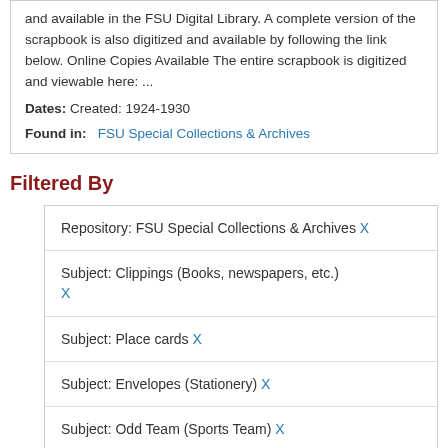and available in the FSU Digital Library. A complete version of the scrapbook is also digitized and available by following the link below. Online Copies Available The entire scrapbook is digitized and viewable here: ...
Dates: Created: 1924-1930
Found in: FSU Special Collections & Archives
Filtered By
Repository: FSU Special Collections & Archives X
Subject: Clippings (Books, newspapers, etc.) X
Subject: Place cards X
Subject: Envelopes (Stationery) X
Subject: Odd Team (Sports Team) X